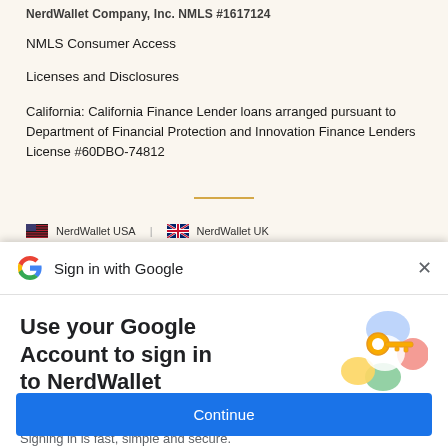NMLS Consumer Access
Licenses and Disclosures
California: California Finance Lender loans arranged pursuant to Department of Financial Protection and Innovation Finance Lenders License #60DBO-74812
NerdWallet USA  |  NerdWallet UK
Sign in with Google
Use your Google Account to sign in to NerdWallet
No more passwords to remember. Signing in is fast, simple and secure.
[Figure (illustration): Google key illustration with colorful circles and a golden key icon representing secure sign-in]
Continue